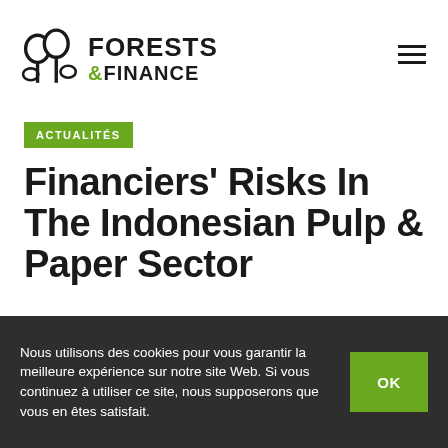Forests & Finance — navigation header with logo and hamburger menu
ACTUALITÉS
Financiers' Risks In The Indonesian Pulp & Paper Sector
Nous utilisons des cookies pour vous garantir la meilleure expérience sur notre site Web. Si vous continuez à utiliser ce site, nous supposerons que vous en êtes satisfait.